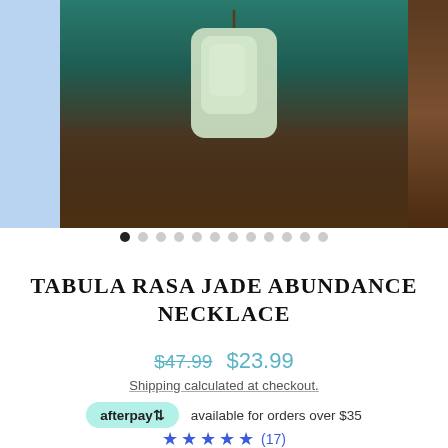[Figure (photo): Product photo of a jade pendant necklace on a wooden surface with teal fabric background. Left side shows a partial blue panel, right side shows partial wood panel.]
● ○ ○ ○ ○ ○ ○ ○ ○ ○ ○ ○
TABULA RASA JADE ABUNDANCE NECKLACE
$47.99  $23.99
Shipping calculated at checkout.
afterpay  available for orders over $35
★★★★★ (17)